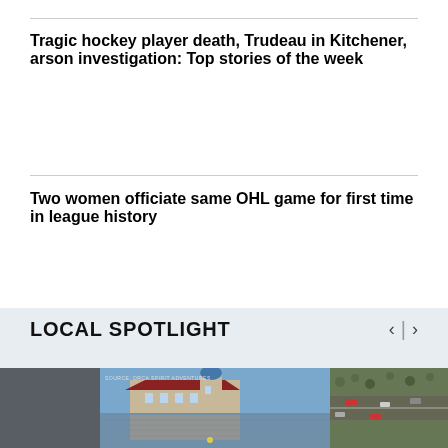Tragic hockey player death, Trudeau in Kitchener, arson investigation: Top stories of the week
Two women officiate same OHL game for first time in league history
LOCAL SPOTLIGHT
[Figure (photo): A waterfront building with red roof and blue turret reflected in calm water, labeled SOURCE: DRCA SPIRIT ADVENTURES]
[Figure (photo): Aerial view of a highway with cars and surrounding greenery]